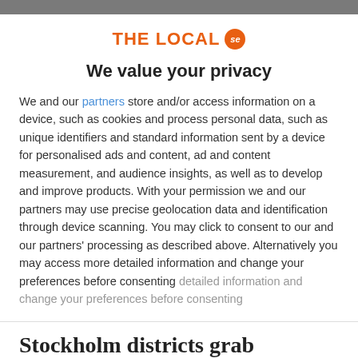[Figure (logo): The Local SE logo — orange text 'THE LOCAL' with orange circular badge 'se']
We value your privacy
We and our partners store and/or access information on a device, such as cookies and process personal data, such as unique identifiers and standard information sent by a device for personalised ads and content, ad and content measurement, and audience insights, as well as to develop and improve products. With your permission we and our partners may use precise geolocation data and identification through device scanning. You may click to consent to our and our partners' processing as described above. Alternatively you may access more detailed information and change your preferences before consenting
ACCEPT
MORE OPTIONS
Stockholm districts grab